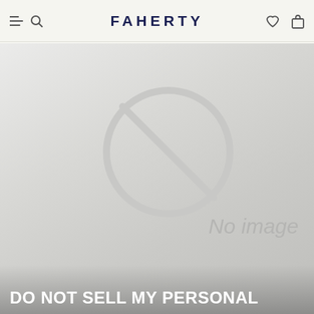FAHERTY
[Figure (other): No image placeholder with a prohibition/no-image circle icon and italic text 'No image' on a grey gradient background]
DO NOT SELL MY PERSONAL